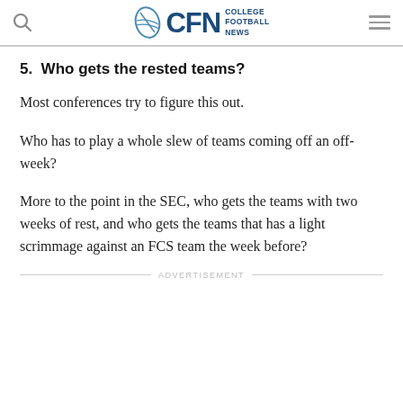CFN College Football News
5.  Who gets the rested teams?
Most conferences try to figure this out.
Who has to play a whole slew of teams coming off an off-week?
More to the point in the SEC, who gets the teams with two weeks of rest, and who gets the teams that has a light scrimmage against an FCS team the week before?
ADVERTISEMENT